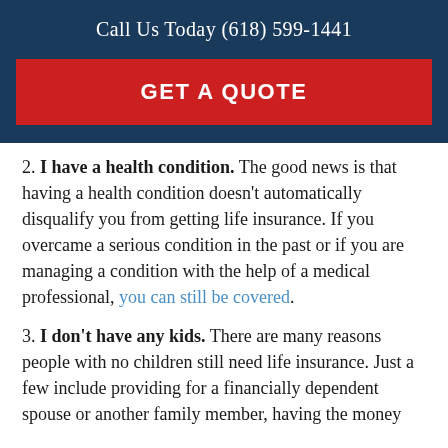Call Us Today (618) 599-1441
GET A QUOTE
2. I have a health condition. The good news is that having a health condition doesn't automatically disqualify you from getting life insurance. If you overcame a serious condition in the past or if you are managing a condition with the help of a medical professional, you can still be covered.
3. I don't have any kids. There are many reasons people with no children still need life insurance. Just a few include providing for a financially dependent spouse or another family member, having the money